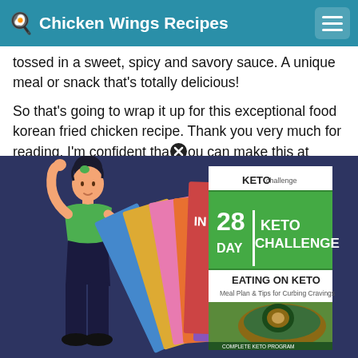🍳 Chicken Wings Recipes
tossed in a sweet, spicy and savory sauce. A unique meal or snack that's totally delicious!
So that's going to wrap it up for this exceptional food korean fried chicken recipe. Thank you very much for reading. I'm confident that you can make this at home...
[Figure (illustration): 28 Day Keto Challenge advertisement popup showing a woman holding up books, with a stack of books including '28 Day Keto Challenge - Eating on Keto, Meal Plan & Tips for Curbing Cravings' on a dark navy background.]
[Figure (photo): Photo strip showing cooked chicken wings at the bottom of the page.]